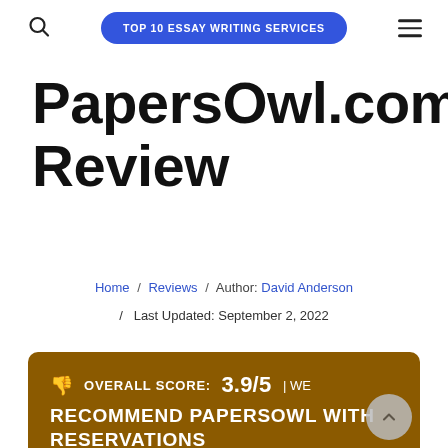TOP 10 ESSAY WRITING SERVICES
PapersOwl.com Review
Home / Reviews / Author: David Anderson / Last Updated: September 2, 2022
OVERALL SCORE: 3.9/5 | WE RECOMMEND PAPERSOWL WITH RESERVATIONS